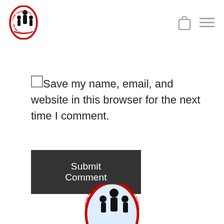Navigation header with logo and icons
Save my name, email, and website in this browser for the next time I comment.
Submit Comment
[Figure (logo): Oval red-bordered logo with silhouettes of adult and children figures, text reading FROM THEIR ROOTS WE ARE BUILDING TOMORROW]